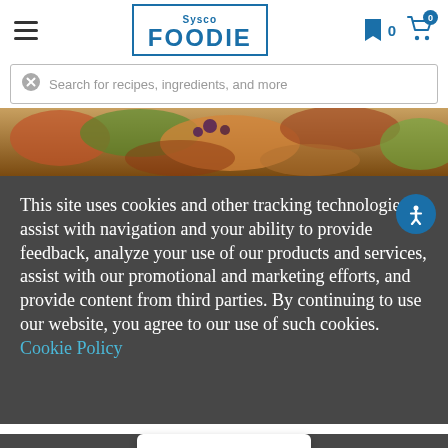[Figure (screenshot): Sysco Foodie website header with hamburger menu, Sysco Foodie logo, bookmark icon with 0 count, and shopping cart icon with 0 badge]
Search for recipes, ingredients, and more
[Figure (photo): Close-up food photo strip showing colorful dishes]
This site uses cookies and other tracking technologies to assist with navigation and your ability to provide feedback, analyze your use of our products and services, assist with our promotional and marketing efforts, and provide content from third parties. By continuing to use our website, you agree to our use of such cookies. Cookie Policy
Accept
Home | Recipes | Spanish G...tta With Bottarga